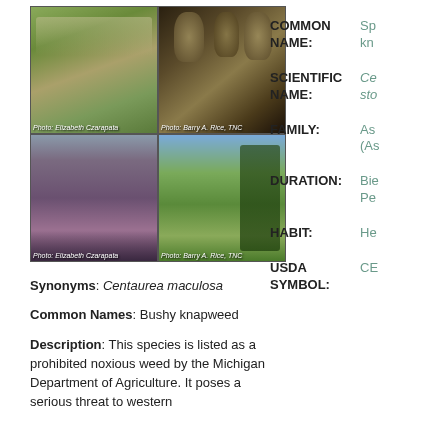[Figure (photo): Four-panel photo grid showing spotted knapweed plant: upper-left shows plant in field (Photo: Elizabeth Czarapata), upper-right shows seedheads closeup (Photo: Barry A. Rice, TNC), lower-left shows large field infestation (Photo: Elizabeth Czarapata), lower-right shows meadow habitat (Photo: Barry A. Rice, TNC)]
Synonyms: Centaurea maculosa
Common Names: Bushy knapweed
Description: This species is listed as a prohibited noxious weed by the Michigan Department of Agriculture. It poses a serious threat to western
COMMON NAME:
Sp kn
SCIENTIFIC NAME:
Ce sto
FAMILY:
As (As
DURATION:
Bie Pe
HABIT:
He
USDA SYMBOL:
CE